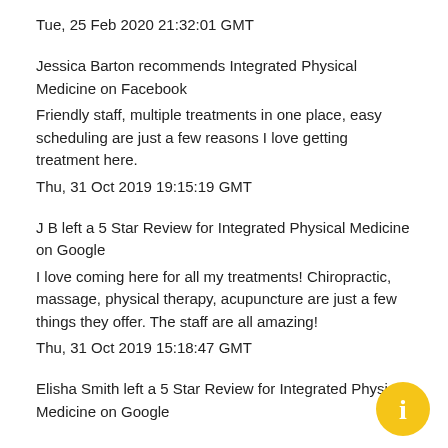Tue, 25 Feb 2020 21:32:01 GMT
Jessica Barton recommends Integrated Physical Medicine on Facebook
Friendly staff, multiple treatments in one place, easy scheduling are just a few reasons I love getting treatment here.
Thu, 31 Oct 2019 19:15:19 GMT
J B left a 5 Star Review for Integrated Physical Medicine on Google
I love coming here for all my treatments! Chiropractic, massage, physical therapy, acupuncture are just a few things they offer. The staff are all amazing!
Thu, 31 Oct 2019 15:18:47 GMT
Elisha Smith left a 5 Star Review for Integrated Physical Medicine on Google
[Figure (other): Yellow circular info button with white 'i' icon in bottom-right corner]